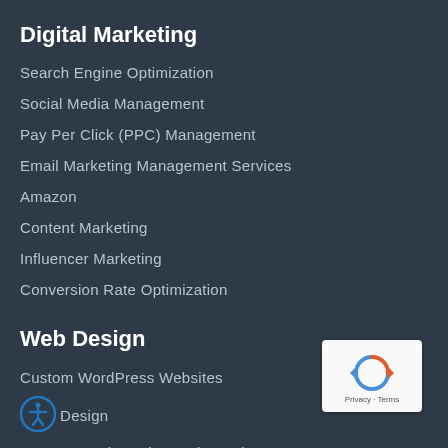Digital Marketing
Search Engine Optimization
Social Media Management
Pay Per Click (PPC) Management
Email Marketing Management Services
Amazon
Content Marketing
Influencer Marketing
Conversion Rate Optimization
Web Design
Custom WordPress Websites
Design
Magento Web Design And Development
[Figure (logo): reCAPTCHA badge with circular arrow icon and Privacy - Terms text]